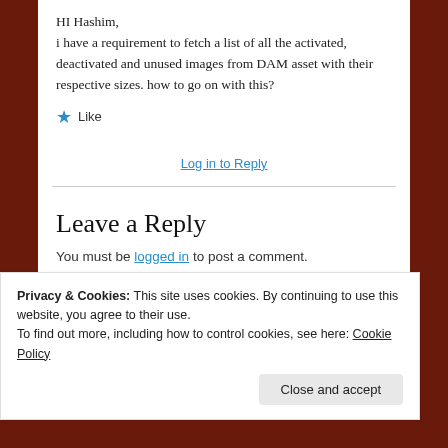HI Hashim,
i have a requirement to fetch a list of all the activated, deactivated and unused images from DAM asset with their respective sizes. how to go on with this?
★ Like
Log in to Reply
Leave a Reply
You must be logged in to post a comment.
Privacy & Cookies: This site uses cookies. By continuing to use this website, you agree to their use.
To find out more, including how to control cookies, see here: Cookie Policy
Close and accept